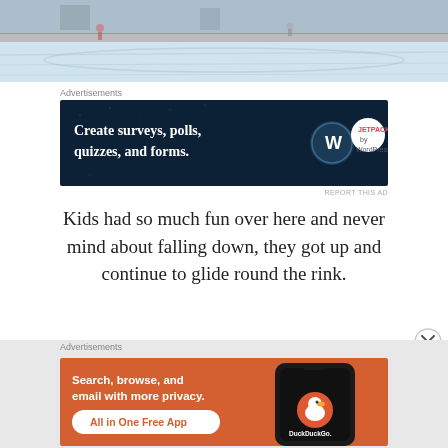[Figure (photo): Partial view of an ice skating rink with a few people, reflective ice surface, and buildings in the background]
Advertisements
[Figure (screenshot): Advertisement for WordPress/Jetpack: 'Create surveys, polls, quizzes, and forms.' with WordPress and Jetpack logos on dark navy background]
REPORT THIS AD
Kids had so much fun over here and never mind about falling down, they got up and continue to glide round the rink.
Advertisements
[Figure (screenshot): DuckDuckGo advertisement: 'Search, browse, and email with more privacy. All in One Free App' with phone mockup showing DuckDuckGo app on orange background]